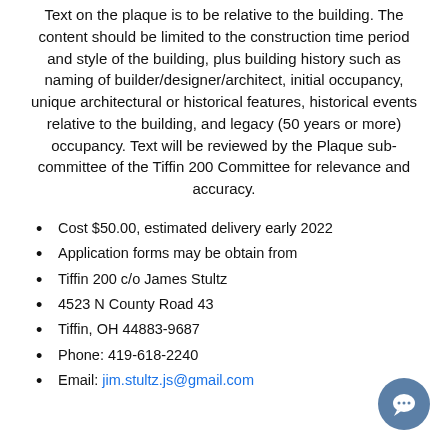Text on the plaque is to be relative to the building. The content should be limited to the construction time period and style of the building, plus building history such as naming of builder/designer/architect, initial occupancy, unique architectural or historical features, historical events relative to the building, and legacy (50 years or more) occupancy. Text will be reviewed by the Plaque sub-committee of the Tiffin 200 Committee for relevance and accuracy.
Cost $50.00, estimated delivery early 2022
Application forms may be obtain from
Tiffin 200 c/o James Stultz
4523 N County Road 43
Tiffin, OH 44883-9687
Phone: 419-618-2240
Email: jim.stultz.js@gmail.com